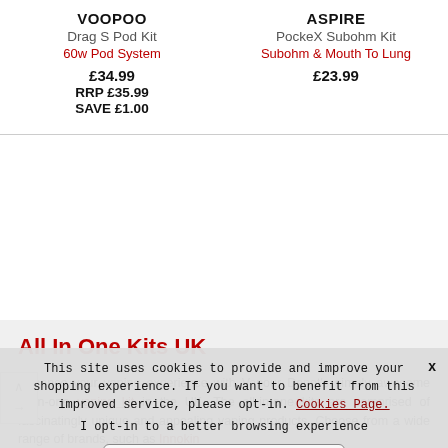VOOPOO
Drag S Pod Kit
60w Pod System
£34.99
RRP £35.99
SAVE £1.00
ASPIRE
PockeX Subohm Kit
Subohm & Mouth To Lung
£23.99
All In One Kits UK
Enhance your vaping experience with Vapour Depot's simply awesome all-in-one vaping kit in the UK. The all-in-one kits are comprised of fascinatingly unique and appealing vaping products. Choose from a wide range of brands, such as Innokin
This site uses cookies to provide and improve your shopping experience. If you want to benefit from this improved service, please opt-in. Cookies Page.
I opt-in to a better browsing experience
Accept Cookies